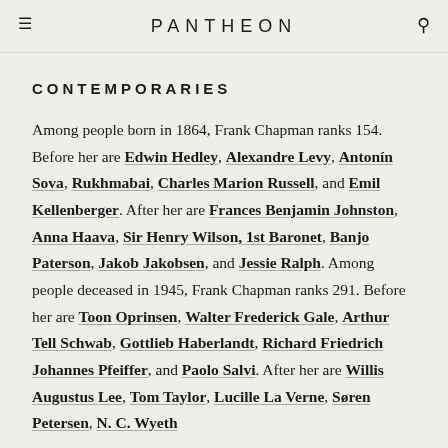PANTHEON
CONTEMPORARIES
Among people born in 1864, Frank Chapman ranks 154. Before her are Edwin Hedley, Alexandre Levy, Antonín Sova, Rukhmabai, Charles Marion Russell, and Emil Kellenberger. After her are Frances Benjamin Johnston, Anna Haava, Sir Henry Wilson, 1st Baronet, Banjo Paterson, Jakob Jakobsen, and Jessie Ralph. Among people deceased in 1945, Frank Chapman ranks 291. Before her are Toon Oprinsen, Walter Frederick Gale, Arthur Tell Schwab, Gottlieb Haberlandt, Richard Friedrich Johannes Pfeiffer, and Paolo Salvi. After her are Willis Augustus Lee, Tom Taylor, Lucille La Verne, Søren Petersen, N. C. Wyeth